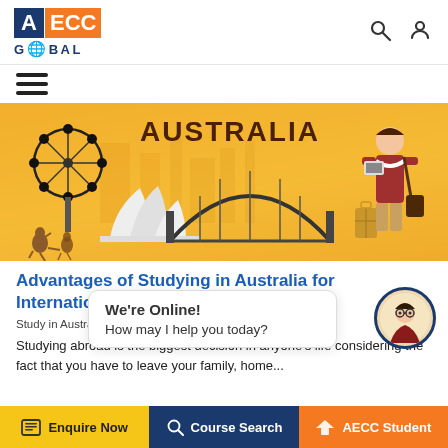AECC GLOBAL
[Figure (illustration): Australia study abroad banner illustration with Sydney Opera House, Harbour Bridge, Ferris wheel, student figure, and kangaroos on an orange background. Text: AUSTRALIA]
Advantages of Studying in Australia for International St...
Study in Australia . We...
Studying abroad is the biggest decision in anyone's life considering the fact that you have to leave your family, home...
[Figure (illustration): Chat bubble overlay: We're Online! How may I help you today? With avatar icon.]
Enquire Now   Course Search   AECC Student